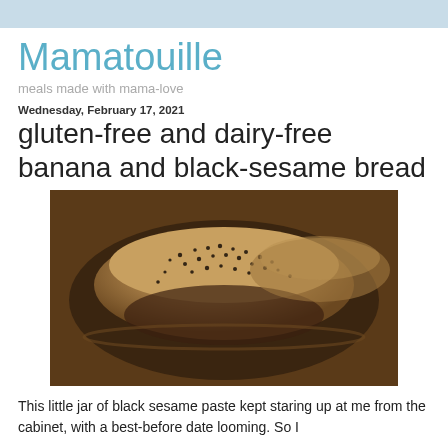Mamatouille
meals made with mama-love
Wednesday, February 17, 2021
gluten-free and dairy-free banana and black-sesame bread
[Figure (photo): A loaf of banana black-sesame bread with black sesame seeds on top, baked in a dark glass loaf pan, viewed from above and slightly to the side.]
This little jar of black sesame paste kept staring up at me from the cabinet, with a best-before date looming. So I